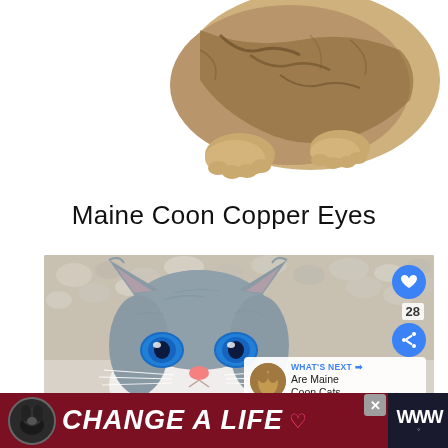[Figure (photo): Partial view of a tabby cat lying down, showing its back, legs and paws, cropped at top of page on white background]
Maine Coon Copper Eyes
[Figure (photo): Close-up photo of a gray and white kitten with striking blue eyes, looking upward, sitting on pebble/gravel background. Social media interface elements visible: heart button (28 likes), share button, and 'What's Next' panel showing 'Are Maine Coon Cats...' with thumbnail. Ad banner at bottom reads 'CHANGE A LIFE' in white italic text on dark red background with a dog image.]